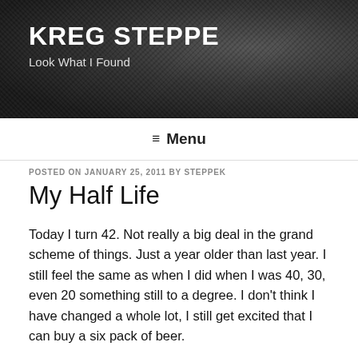KREG STEPPE
Look What I Found
≡ Menu
POSTED ON JANUARY 25, 2011 BY STEPPEK
My Half Life
Today I turn 42. Not really a big deal in the grand scheme of things. Just a year older than last year. I still feel the same as when I did when I was 40, 30, even 20 something still to a degree. I don't think I have changed a whole lot, I still get excited that I can buy a six pack of beer.
Age hasn't really bothered me before…actually that isn't